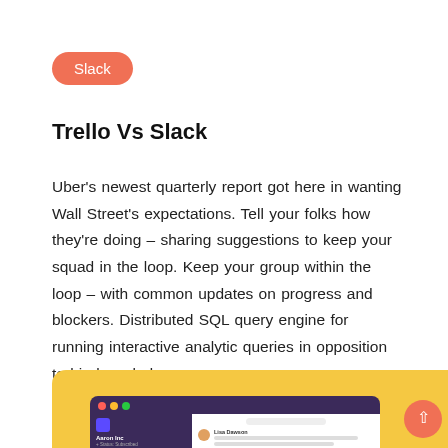Slack
Trello Vs Slack
Uber’s newest quarterly report got here in wanting Wall Street’s expectations. Tell your folks how they’re doing – sharing suggestions to keep your squad in the loop. Keep your group within the loop – with common updates on progress and blockers. Distributed SQL query engine for running interactive analytic queries in opposition to big knowledge sources.
[Figure (screenshot): Screenshot of the Slack desktop application showing a dark purple sidebar with user profile and channels (All unreads, Threads, Mentions & reactions) on the left, and a main chat pane on the right with a message from Lisa Dawson. The screenshot sits on a golden/yellow background with a coral scroll-to-top button.]